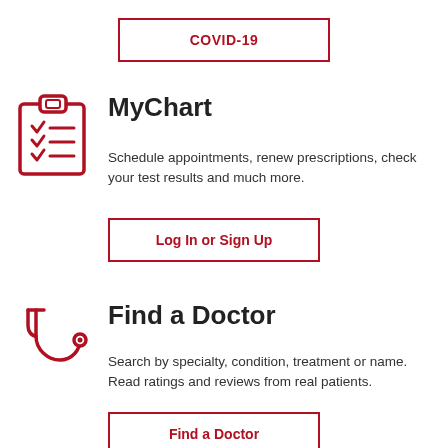COVID-19
MyChart
Schedule appointments, renew prescriptions, check your test results and much more.
Log In or Sign Up
[Figure (illustration): Red clipboard icon with checklist]
Find a Doctor
Search by specialty, condition, treatment or name. Read ratings and reviews from real patients.
Find a Doctor